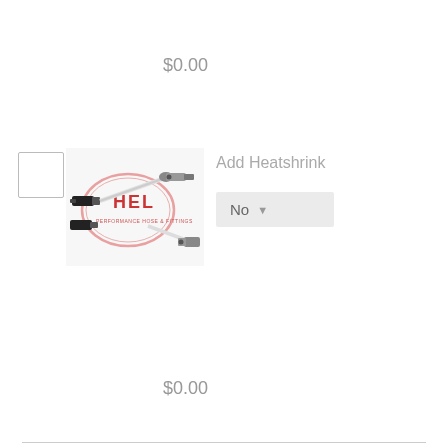$0.00
[Figure (photo): HEL Performance brake hose/cable product with metal connectors on each end, white cable with black fittings, HEL logo visible]
Add Heatshrink
No
$0.00